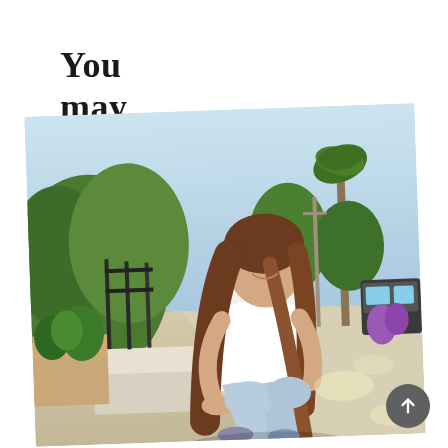You may also enjoy
[Figure (photo): Young woman with long brown hair wearing a white t-shirt and light blue jeans, sitting on a low wall outdoors on a sunny day. Background shows a sidewalk, green plants, trees, a palm tree, parked vehicles, and blue sky. Photo is slightly rotated.]